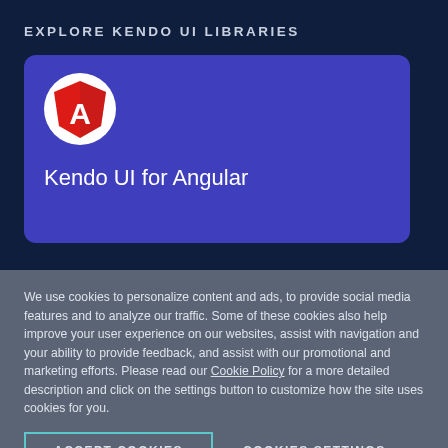EXPLORE KENDO UI LIBRARIES
[Figure (logo): Angular logo on a blue card with text 'Kendo UI for Angular']
We use cookies to personalize content and ads, to provide social media features and to analyze our traffic. Some of these cookies also help improve your user experience on our websites, assist with navigation and your ability to provide feedback, and assist with our promotional and marketing efforts. Please read our Cookie Policy for a more detailed description and click on the settings button to customize how the site uses cookies for you.
ACCEPT COOKIES
COOKIES SETTINGS